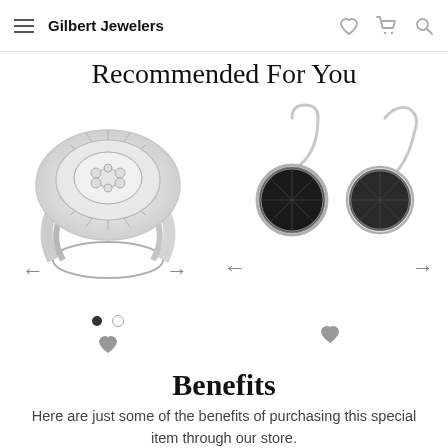Gilbert Jewelers
Recommended For You
[Figure (photo): Diamond cluster ring with baguette halo in white gold, shown with left/right navigation arrows]
[Figure (photo): Black stone drop earrings on silver wire hooks, shown with left/right navigation arrows]
Benefits
Here are just some of the benefits of purchasing this special item through our store.